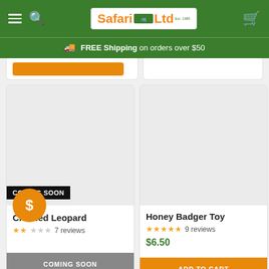Safari Ltd — FREE Shipping on orders over $50
[Figure (screenshot): Partial product card row at top, cut off]
Clouded Leopard — 7 reviews — COMING SOON
Honey Badger Toy — 9 reviews — $6.50 — ADD TO CART